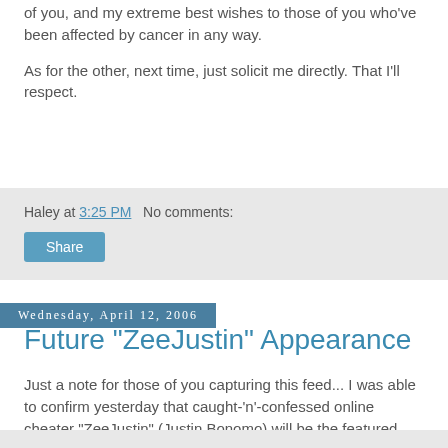of you, and my extreme best wishes to those of you who've been affected by cancer in any way.
As for the other, next time, just solicit me directly. That I'll respect.
Haley at 3:25 PM   No comments:
Share
Wednesday, April 12, 2006
Future "ZeeJustin" Appearance
Just a note for those of you capturing this feed... I was able to confirm yesterday that caught-'n'-confessed online cheater "ZeeJustin" (Justin Bonomo) will be the featured guest on the debut episode of Lou Krieger's upcoming webcast "radio" show. For more information, please visit my complete news release at the Kick Ass Poker blog. Thanks!